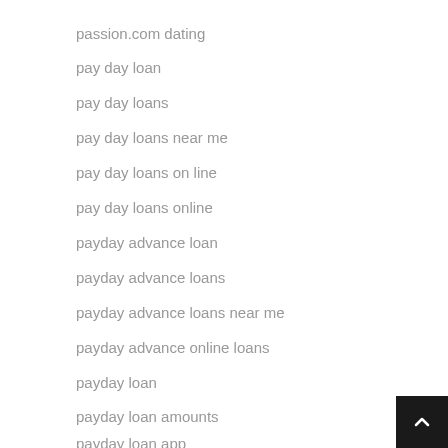passion.com dating
pay day loan
pay day loans
pay day loans near me
pay day loans on line
pay day loans online
payday advance loan
payday advance loans
payday advance loans near me
payday advance online loans
payday loan
payday loan amounts
payday loan app